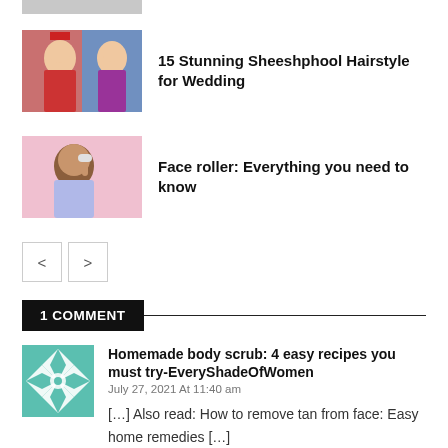[Figure (photo): Partial top of a thumbnail image, cropped at top of page]
[Figure (photo): Photo of a bride in traditional Indian wedding attire with colorful background]
15 Stunning Sheeshphool Hairstyle for Wedding
[Figure (photo): Woman applying face roller on her cheek against a pink background]
Face roller: Everything you need to know
< >
1 COMMENT
[Figure (illustration): Teal and white geometric quilt/snowflake pattern avatar icon]
Homemade body scrub: 4 easy recipes you must try-EveryShadeOfWomen
July 27, 2021 At 11:40 am
[...] Also read: How to remove tan from face: Easy home remedies [...]